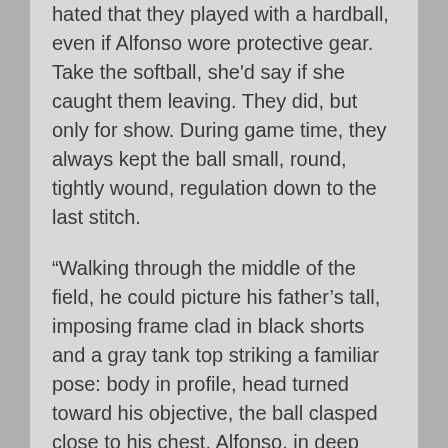hated that they played with a hardball, even if Alfonso wore protective gear. Take the softball, she'd say if she caught them leaving. They did, but only for show. During game time, they always kept the ball small, round, tightly wound, regulation down to the last stitch.
“Walking through the middle of the field, he could picture his father’s tall, imposing frame clad in black shorts and a gray tank top striking a familiar pose: body in profile, head turned toward his objective, the ball clasped close to his chest. Alfonso, in deep concentration, held his bat at the ready. When his father played in college, they called him the Wizard, because he made balls disappear. No one saw them as they whizzed by. The years had changed nothing. His father still had a mean fastball. Whenever Alfonso connected, they set their eyes skyward, following the ball like Charlie Brown followed his kite, with hope that they’d be able to track and retrieve it so that they could send it soaring